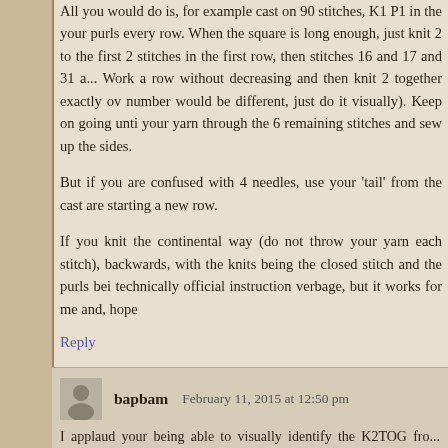All you would do is, for example cast on 90 stitches, K1 P1 in the your purls every row. When the square is long enough, just knit 2 to the first 2 stitches in the first row, then stitches 16 and 17 and 31 a... Work a row without decreasing and then knit 2 together exactly ov number would be different, just do it visually). Keep on going unti your yarn through the 6 remaining stitches and sew up the sides.
But if you are confused with 4 needles, use your 'tail' from the cast are starting a new row.
If you knit the continental way (do not throw your yarn each stitch), backwards, with the knits being the closed stitch and the purls bei technically official instruction verbage, but it works for me and, hope
Reply
bapbam   February 11, 2015 at 12:50 pm
I applaud your being able to visually identify the K2TOG from that.
Reply
Maureen   December 1, 2016 at 2:05 am
Great Job !!!